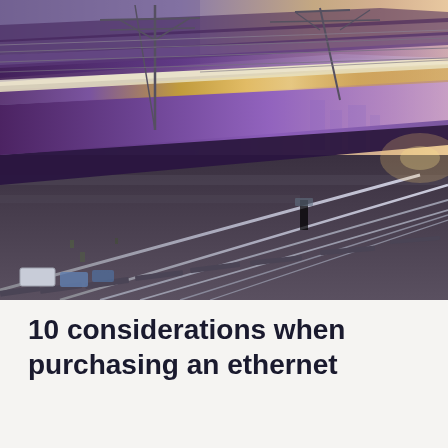[Figure (photo): A high-speed train passing through a railway station at dusk/dawn, captured with motion blur showing streaks of purple, blue, and golden colors along the train body. Overhead electrical catenary wires and poles are visible against a pinkish-purple sky. Multiple railway tracks are visible in the foreground receding into the distance.]
10 considerations when purchasing an ethernet